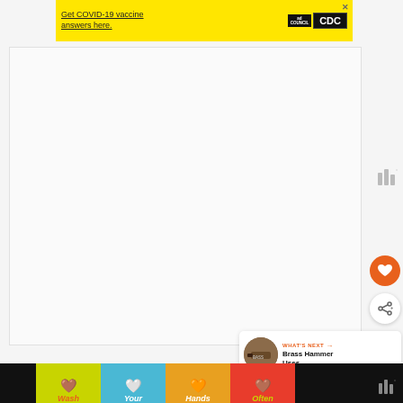[Figure (screenshot): Yellow advertisement banner for COVID-19 vaccine information from Ad Council and CDC. Text: 'Get COVID-19 vaccine answers here.' with Ad Council and CDC logos. Close button (X) at top right.]
[Figure (screenshot): Large empty whitish content area - main page content region, mostly blank/white.]
[Figure (infographic): Sharethrough logo icon (three vertical bars with degree symbol) appearing on right side.]
[Figure (infographic): Orange circular heart/favorite button on right side.]
[Figure (infographic): White circular share button with share icon and plus on right side.]
[Figure (infographic): WHAT'S NEXT panel with arrow, thumbnail image of brass hammer, and text 'Brass Hammer Uses'.]
[Figure (screenshot): Bottom advertisement banner: 'Wash Your Hands Often' with colorful hand-washing graphics on black bar background. Close X button visible.]